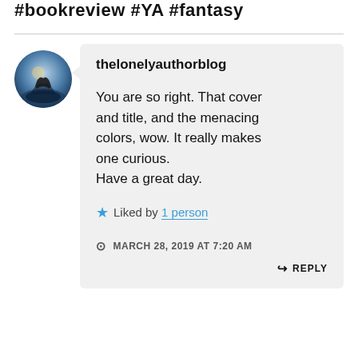#bookreview #YA #fantasy
thelonelyauthorblog
You are so right. That cover and title, and the menacing colors, wow. It really makes one curious.
Have a great day.
Liked by 1 person
MARCH 28, 2019 AT 7:20 AM
REPLY